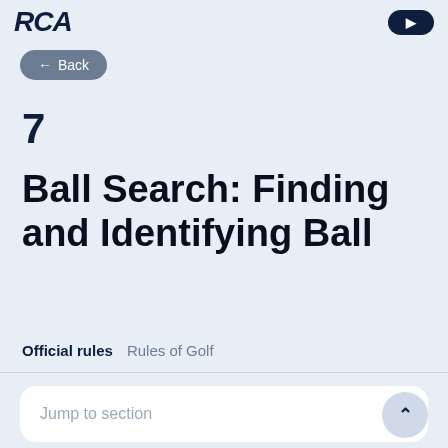RCA
← Back
7
Ball Search: Finding and Identifying Ball
Official rules   Rules of Golf
Jump to section